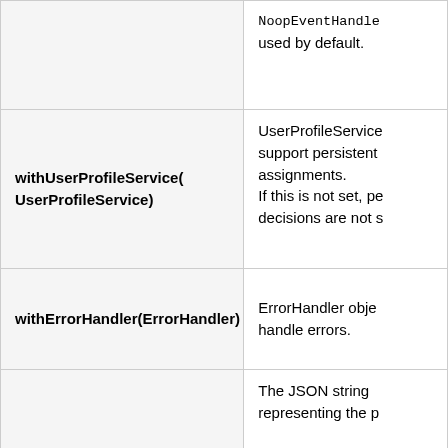| Method | Description |
| --- | --- |
|  | NoopEventHandle used by default. |
| withUserProfileService(UserProfileService) | UserProfileService support persistent assignments.
If this is not set, pe decisions are not s |
| withErrorHandler(ErrorHandler) | ErrorHandler obje handle errors. |
| withDatafile(String) | The JSON string representing the p

If an instance of ProjectConfigMa not provided, this needed to initialize ProjectConfig stati |
|  | Array of |